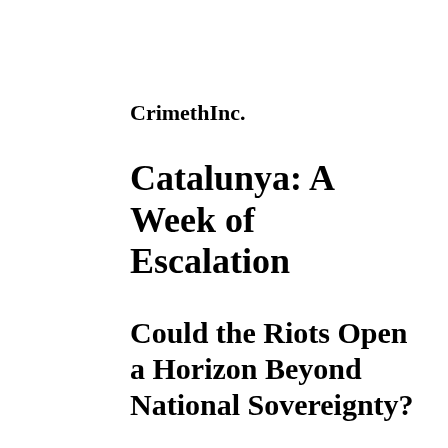CrimethInc.
Catalunya: A Week of Escalation
Could the Riots Open a Horizon Beyond National Sovereignty?
October 18, 2019